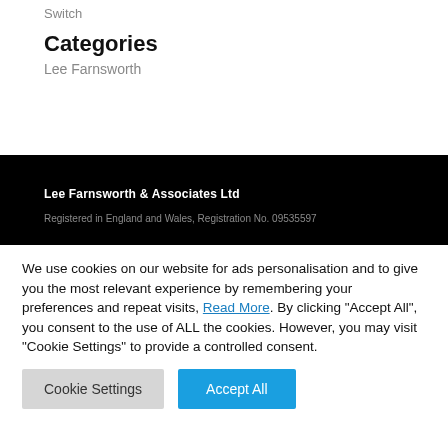Switch
Categories
Lee Farnsworth
Lee Farnsworth & Associates Ltd
Registered in England and Wales, Registration No. 09535597
We use cookies on our website for ads personalisation and to give you the most relevant experience by remembering your preferences and repeat visits, Read More. By clicking "Accept All", you consent to the use of ALL the cookies. However, you may visit "Cookie Settings" to provide a controlled consent.